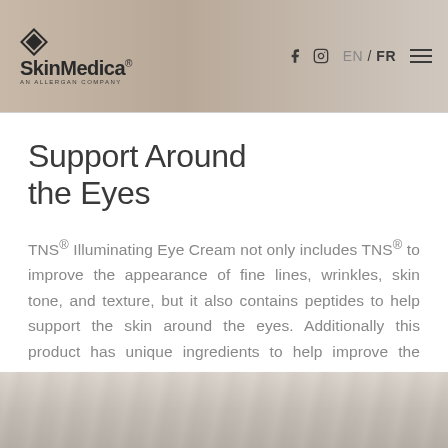SkinMedica® AN ALLERGAN COMPANY | f IG EN / FR ≡
Support Around the Eyes
TNS® Illuminating Eye Cream not only includes TNS® to improve the appearance of fine lines, wrinkles, skin tone, and texture, but it also contains peptides to help support the skin around the eyes. Additionally this product has unique ingredients to help improve the appearance of dark circles.
[Figure (photo): Blurred grey/white fabric or textile background texture at the bottom of the page]